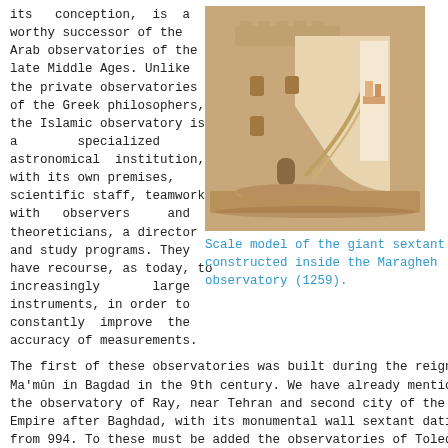its conception, is a worthy successor of the Arab observatories of the late Middle Ages. Unlike the private observatories of the Greek philosophers, the Islamic observatory is a specialized astronomical institution, with its own premises, scientific staff, teamwork with observers and theoreticians, a director and study programs. They have recourse, as today, to increasingly large instruments, in order to constantly improve the accuracy of measurements.
[Figure (photo): Scale model of the giant sextant constructed inside the Maragheh observatory, showing a cross-section of a cylindrical tower building made of sandstone-colored material.]
Scale model of the giant sextant constructed inside the Maragheh observatory (1259).
The first of these observatories was built during the reign of Al-Ma'mûn in Bagdad in the 9th century. We have already mentioned the observatory of Ray, near Tehran and second city of the Abbasid Empire after Baghdad, with its monumental wall sextant dating from 994. To these must be added the observatories of Toledo and Cordoba in Spain, Baghdad and Isfahan.
Finally, the one in Maragheh in the north of present-day Iran, built in 1259, with a few well-stocked astronomical units, became